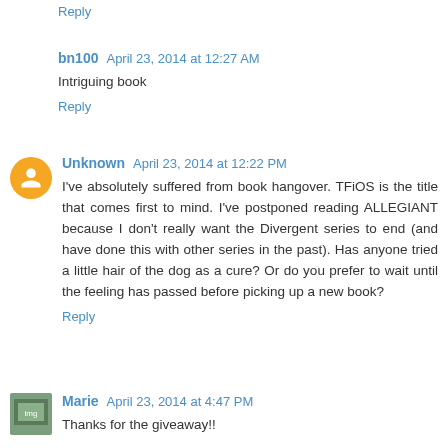Reply
bn100  April 23, 2014 at 12:27 AM
Intriguing book
Reply
Unknown  April 23, 2014 at 12:22 PM
I've absolutely suffered from book hangover. TFiOS is the title that comes first to mind. I've postponed reading ALLEGIANT because I don't really want the Divergent series to end (and have done this with other series in the past). Has anyone tried a little hair of the dog as a cure? Or do you prefer to wait until the feeling has passed before picking up a new book?
Reply
Marie  April 23, 2014 at 4:47 PM
Thanks for the giveaway!!